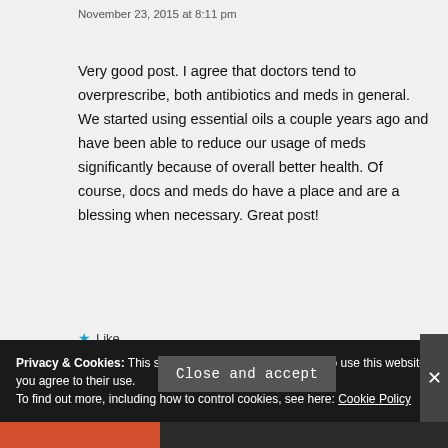November 23, 2015 at 8:11 pm
Very good post. I agree that doctors tend to overprescribe, both antibiotics and meds in general. We started using essential oils a couple years ago and have been able to reduce our usage of meds significantly because of overall better health. Of course, docs and meds do have a place and are a blessing when necessary. Great post!
★ Like
Log in to Reply
Privacy & Cookies: This site uses cookies. By continuing to use this website, you agree to their use. To find out more, including how to control cookies, see here: Cookie Policy
Close and accept